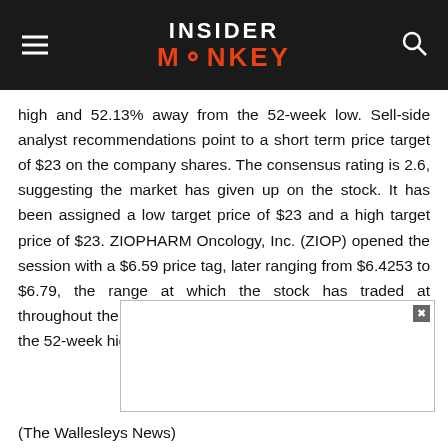INSIDER MONKEY
high and 52.13% away from the 52-week low. Sell-side analyst recommendations point to a short term price target of $23 on the company shares. The consensus rating is 2.6, suggesting the market has given up on the stock. It has been assigned a low target price of $23 and a high target price of $23. ZIOPHARM Oncology, Inc. (ZIOP) opened the session with a $6.59 price tag, later ranging from $6.4253 to $6.79, the range at which the stock has traded at throughout the day. The stock stands nearly $2.6 off versus the 52-week high of $9.19 and $2.14 above the 5
(The Wallesleys News)